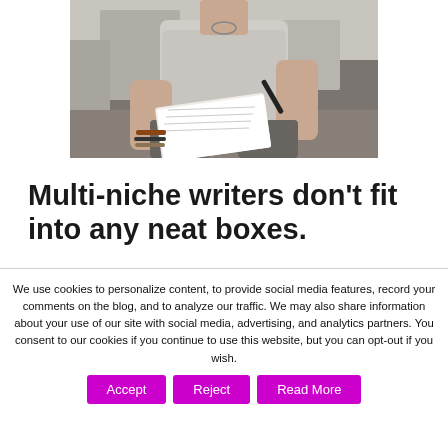[Figure (photo): A person (torso and hands visible) sitting outdoors writing in a notebook, wearing a grey t-shirt, jeans, and bracelets. Blurred urban/outdoor background.]
Multi-niche writers don't fit into any neat boxes.
We use cookies to personalize content, to provide social media features, record your comments on the blog, and to analyze our traffic. We may also share information about your use of our site with social media, advertising, and analytics partners. You consent to our cookies if you continue to use this website, but you can opt-out if you wish.